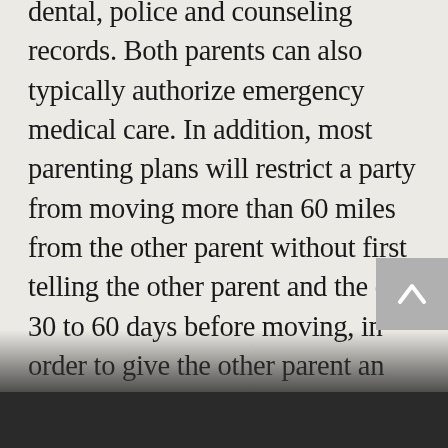dental, police and counseling records. Both parents can also typically authorize emergency medical care. In addition, most parenting plans will restrict a party from moving more than 60 miles from the other parent without first telling the other parent and the court 30 to 60 days before moving, in order to give the other parent an opportunity to contest the relocation or to have the court revise a prior custody determination and/or revise the parenting plan in the best interests of the child. A court order for custody may be changed later if it can be shown that there has been a substantial change...